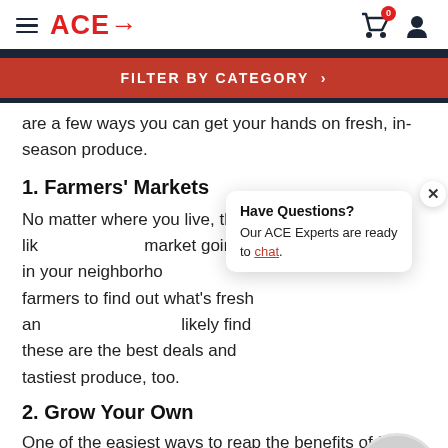ACE→ (logo with hamburger menu, cart with badge 0, user icon)
[Figure (screenshot): Red filter by category button with chevron and dark nav band]
are a few ways you can get your hands on fresh, in-season produce.
1. Farmers' Markets
No matter where you live, there's likely a farmers' market going off in your neighborhood. Talk to the farmers to find out what's fresh and in season. You'll likely find these are the best deals and tastiest produce, too.
2. Grow Your Own
One of the easiest ways to reap the benefits of fresh produce is to grow your own. Even if you weren't raised
[Figure (infographic): Have Questions? chat popup with ACE expert avatar and accessibility button]